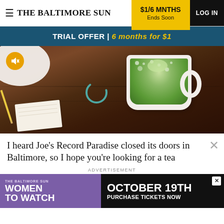THE BALTIMORE SUN | $1/6 MNTHS Ends Soon | LOG IN
TRIAL OFFER | 6 months for $1
[Figure (photo): Photo of a white cup filled with green matcha tea on a dark wood table, with a notebook and pencil visible. A loading/spinner icon is overlaid in the center and a mute icon in the top left.]
I heard Joe's Record Paradise closed its doors in Baltimore, so I hope you're looking for a tea
ADVERTISEMENT
[Figure (photo): Advertisement banner for The Baltimore Sun 'Women to Watch' event on October 19th with a 'Purchase Tickets Now' call to action. Purple and black background.]